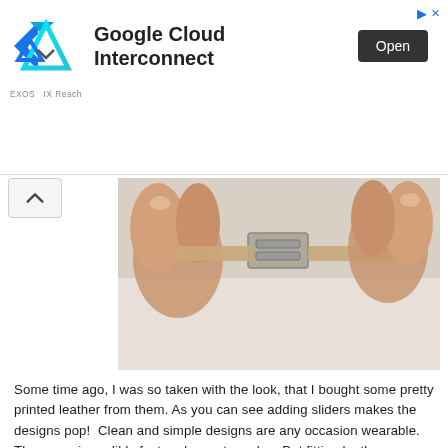[Figure (other): Google Cloud Interconnect advertisement banner with IX Reach logo, Open button, and navigation controls]
[Figure (photo): Close-up photo of hands holding a metal slider/clasp bracelet component with printed leather]
Some time ago, I was so taken with the look, that I bought some pretty printed leather from them. As you can see adding sliders makes the designs pop!  Clean and simple designs are any occasion wearable.  These are incredibly fast and easy to make.  But fitting leather bracelets accurately can be awkward. So tune in later this week for the tutorial on how to measure and make leather bracelets with any clasp!